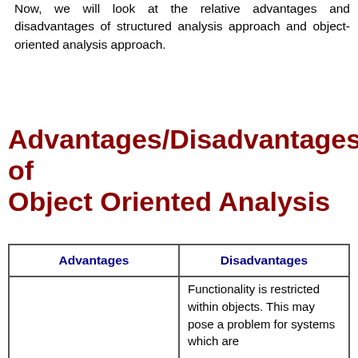Now, we will look at the relative advantages and disadvantages of structured analysis approach and object-oriented analysis approach.
Advantages/Disadvantages of Object Oriented Analysis
| Advantages | Disadvantages |
| --- | --- |
| Focuses on data rather than the procedures as in | Functionality is restricted within objects. This may pose a problem for systems which are |